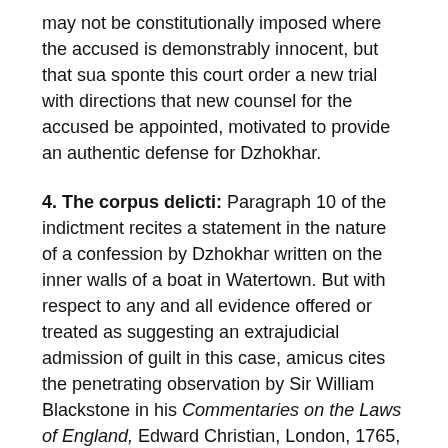may not be constitutionally imposed where the accused is demonstrably innocent, but that sua sponte this court order a new trial with directions that new counsel for the accused be appointed, motivated to provide an authentic defense for Dzhokhar.
4. The corpus delicti: Paragraph 10 of the indictment recites a statement in the nature of a confession by Dzhokhar written on the inner walls of a boat in Watertown. But with respect to any and all evidence offered or treated as suggesting an extrajudicial admission of guilt in this case, amicus cites the penetrating observation by Sir William Blackstone in his Commentaries on the Laws of England, Edward Christian, London, 1765, Book IV, p. 357: "[E]ven in cases of felony at common law, [confessions] are the weakest and most suspicious of all testimony, ever liable to be obtained by artifice, false hopes, promises of favour, or menaces, seldom remembered accurately, or reported with due precision, and incapable in their nature of being